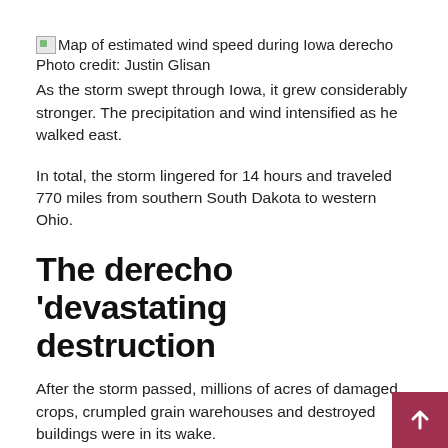[Figure (other): Broken image placeholder for map of estimated wind speed during Iowa derecho]
Map of estimated wind speed during Iowa derecho
Photo credit: Justin Glisan
As the storm swept through Iowa, it grew considerably stronger. The precipitation and wind intensified as he walked east.
In total, the storm lingered for 14 hours and traveled 770 miles from southern South Dakota to western Ohio.
The derecho 'devastating destruction
After the storm passed, millions of acres of damaged crops, crumpled grain warehouses and destroyed buildings were in its wake.
Lee Lubbers, of Xtreme Ag, operates farms in southern South Dakota, where the derecho first formed. His farm was hit by hail, but “overall we feel lucky,” he says.